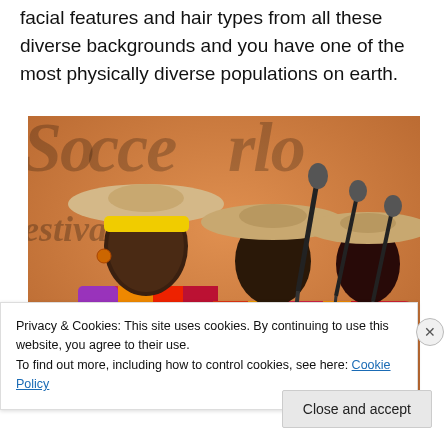Add to that the whole variety of body shapes, eye colors, facial features and hair types from all these diverse backgrounds and you have one of the most physically diverse populations on earth.
[Figure (photo): Three women wearing large brimmed hats and colorful outfits performing or singing at microphones at what appears to be a festival, with an orange banner background partially visible showing cursive text.]
Privacy & Cookies: This site uses cookies. By continuing to use this website, you agree to their use.
To find out more, including how to control cookies, see here: Cookie Policy
Close and accept